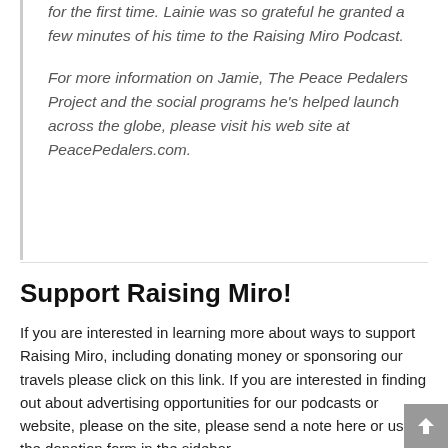for the first time. Lainie was so grateful he granted a few minutes of his time to the Raising Miro Podcast.

For more information on Jamie, The Peace Pedalers Project and the social programs he's helped launch across the globe, please visit his web site at PeacePedalers.com.
Support Raising Miro!
If you are interested in learning more about ways to support Raising Miro, including donating money or sponsoring our travels please click on this link. If you are interested in finding out about advertising opportunities for our podcasts or website, please on the site, please send a note here or use the donation form in the sidebar.